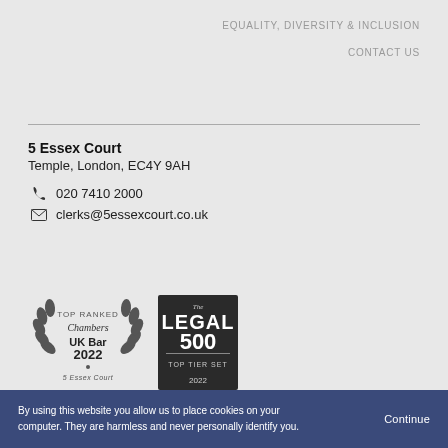EQUALITY, DIVERSITY & INCLUSION
CONTACT US
5 Essex Court
Temple, London, EC4Y 9AH
020 7410 2000
clerks@5essexcourt.co.uk
[Figure (logo): Chambers UK Bar 2022 Top Ranked badge with laurel wreath and 5 Essex Court text]
[Figure (logo): The Legal 500 Top Tier Set 2022 dark badge]
COVID-19  PRIVACY  COOKIES  DISCLAIMER  ACCESSIBILITY  SUBSCRIBE TO NEWSLETTER  SITE MAP
Barristers regulated by the Bar Standards Board.
By using this website you allow us to place cookies on your computer. They are harmless and never personally identify you.